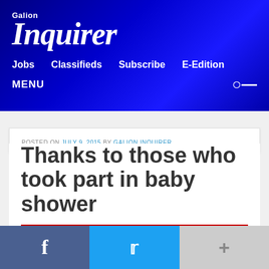Galion Inquirer — Jobs  Classifieds  Subscribe  E-Edition  MENU
POSTED ON JULY 9, 2015 BY GALION INQUIRER
Thanks to those who took part in baby shower
OPINION
[Figure (other): Social sharing bar with Facebook, Twitter, and more (+) buttons]